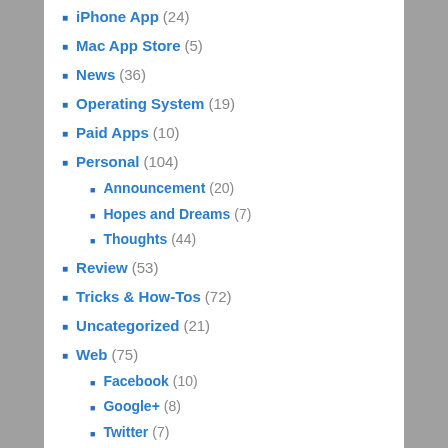iPhone App (24)
Mac App Store (5)
News (36)
Operating System (19)
Paid Apps (10)
Personal (104)
Announcement (20)
Hopes and Dreams (7)
Thoughts (44)
Review (53)
Tricks & How-Tos (72)
Uncategorized (21)
Web (75)
Facebook (10)
Google+ (8)
Twitter (7)
TAGS
Android App Apple Backup Browser Camera case Droid Incredible